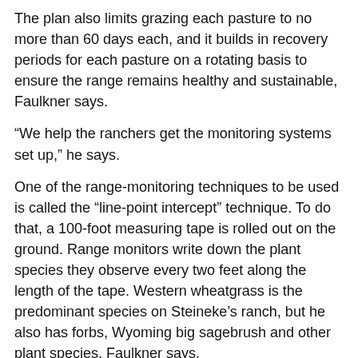The plan also limits grazing each pasture to no more than 60 days each, and it builds in recovery periods for each pasture on a rotating basis to ensure the range remains healthy and sustainable, Faulkner says.
“We help the ranchers get the monitoring systems set up,” he says.
One of the range-monitoring techniques to be used is called the “line-point intercept” technique. To do that, a 100-foot measuring tape is rolled out on the ground. Range monitors write down the plant species they observe every two feet along the length of the tape. Western wheatgrass is the predominant species on Steineke’s ranch, but he also has forbs, Wyoming big sagebrush and other plant species, Faulkner says.
Beyond identifying the plants, ranchers are asked to record the grass height every four feet along the tape. “That way, they’ll measure the tallest grasses, and if they hit a sagebrush plant, they can measure the height of that as well,” Faulkner says. “This is how we get an idea for the vegetative cover in each pasture and measure any changes to soil cover and vegetation that occur due to grazing management.”
The Steineke Ranch is about 12 miles north of Belle Fourche, on